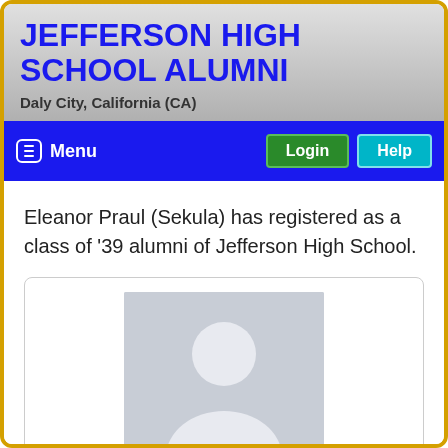JEFFERSON HIGH SCHOOL ALUMNI
Daly City, California (CA)
Menu  Login  Help
Eleanor Praul (Sekula) has registered as a class of '39 alumni of Jefferson High School.
[Figure (photo): Placeholder profile silhouette image on gray background]